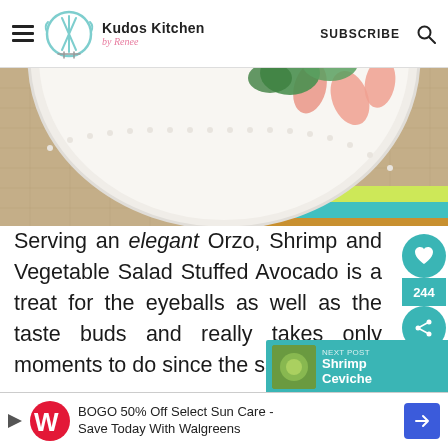Kudos Kitchen by Renee | SUBSCRIBE
[Figure (photo): Top-down view of a white decorative plate with shrimp and greens on a woven burlap mat with a green and teal striped napkin]
Serving an elegant Orzo, Shrimp and Vegetable Salad Stuffed Avocado is a treat for the eyeballs as well as the taste buds and really takes only moments to do since the salad is a
[Figure (infographic): Teal social share sidebar with heart icon, count 244, and share icon]
[Figure (infographic): Teal next post widget showing Shrimp Ceviche thumbnail and label]
[Figure (infographic): Advertisement banner: BOGO 50% Off Select Sun Care - Save Today With Walgreens with Walgreens logo and navigation arrow]